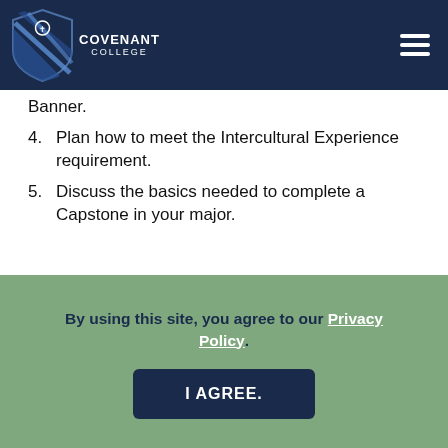Covenant College
Banner.
4. Plan how to meet the Intercultural Experience requirement.
5. Discuss the basics needed to complete a Capstone in your major.
By using this site, you agree to our Privacy Policy
I AGREE.